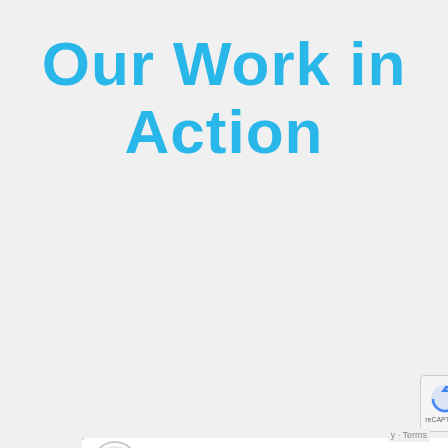Our Work in Action
[Figure (screenshot): YouTube video player embed showing a video titled 'We Thrive When We Matter' with Silver Lining Network channel logo and two people laughing in the thumbnail with a YouTube play button overlay]